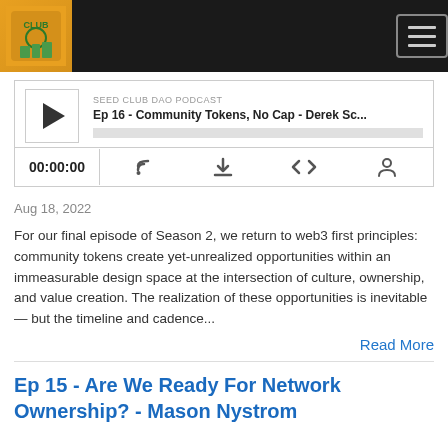Seed Club DAO Podcast - Header Navigation
[Figure (screenshot): Podcast player showing episode: Ep 16 - Community Tokens, No Cap - Derek Sc... with play button, progress bar, time 00:00:00, and control icons]
Aug 18, 2022
For our final episode of Season 2, we return to web3 first principles: community tokens create yet-unrealized opportunities within an immeasurable design space at the intersection of culture, ownership, and value creation. The realization of these opportunities is inevitable — but the timeline and cadence...
Read More
Ep 15 - Are We Ready For Network Ownership? - Mason Nystrom